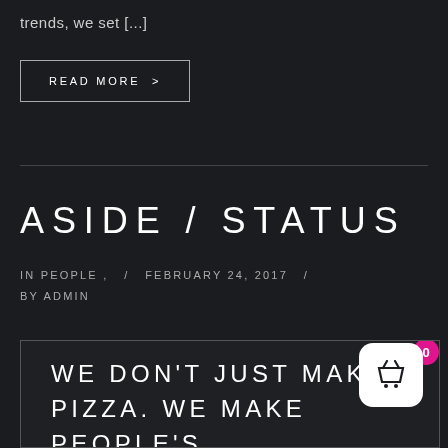trends, we set [...]
READ MORE >
ASIDE / STATUS
IN PEOPLE ,  /  FEBRUARY 24, 2017  /  BY ADMIN
WE DON'T JUST MAKE PIZZA. WE MAKE PEOPLE'S